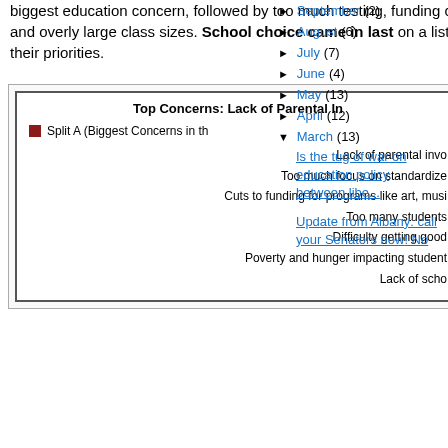biggest education concern, followed by too much testing, funding cuts and overly large class sizes. School choice came in last on a list of their priorities.
[Figure (bar-chart): Top Concerns: Lack of Parental In]
September (2)
August (6)
July (7)
June (4)
May (13)
April (12)
March (13)
Is the tug of war on education policy between libe...
Update from Albany: call your Senators now! No